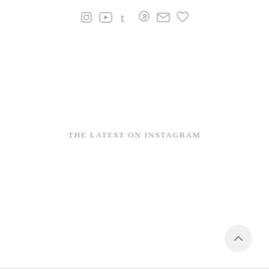[Figure (other): Row of social media icons: Instagram, YouTube, Tumblr, Pinterest, Email, Heart/Favorites]
THE LATEST ON INSTAGRAM
[Figure (other): Back-to-top button: circular light gray button with upward chevron arrow in bottom-right corner]